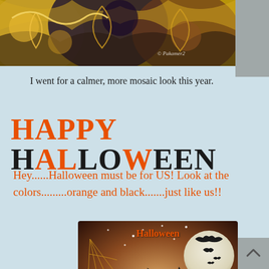[Figure (illustration): Mosaic/artistic illustration of cats with colorful swirling patterns in orange, gold, and dark colors. Watermark '© Pakamer2' visible in lower right of image.]
I went for a calmer, more mosaic look this year.
HAPPY HALLOWEEN
Hey......Halloween must be for US!  Look at the colors.........orange and black.......just like us!!
[Figure (illustration): Halloween greeting card image showing a black and white tuxedo cat sitting in front of a full moon with bats flying. Text 'Halloween' in orange at top. White ghost decorations on left and bottom right. Golden spider web decoration on left side.]